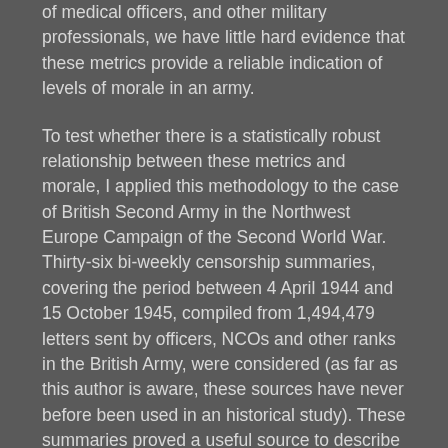of medical officers, and other military professionals, we have little hard evidence that these metrics provide a reliable indication of levels of morale in an army.
To test whether there is a statistically robust relationship between these metrics and morale, I applied this methodology to the case of British Second Army in the Northwest Europe Campaign of the Second World War. Thirty-six bi-weekly censorship summaries, covering the period between 4 April 1944 and 15 October 1945, compiled from 1,494,479 letters sent by officers, NCOs and other ranks in the British Army, were considered (as far as this author is aware, these sources have never before been used in an historical study). These summaries proved a useful source to describe and 'quantify' levels of morale (through the use of a numerical morale scale). Where morale was described as 'excellent', it was awarded a score of 3. 'High' morale was given a score of 2 and 'good' morale was scored 1. 'Satisfactory' morale was given a score of 0